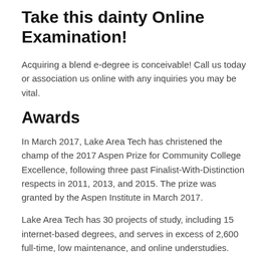Take this dainty Online Examination!
Acquiring a blend e-degree is conceivable! Call us today or association us online with any inquiries you may be vital.
Awards
In March 2017, Lake Area Tech has christened the champ of the 2017 Aspen Prize for Community College Excellence, following three past Finalist-With-Distinction respects in 2011, 2013, and 2015. The prize was granted by the Aspen Institute in March 2017.
Lake Area Tech has 30 projects of study, including 15 internet-based degrees, and serves in excess of 2,600 full-time, low maintenance, and online understudies.